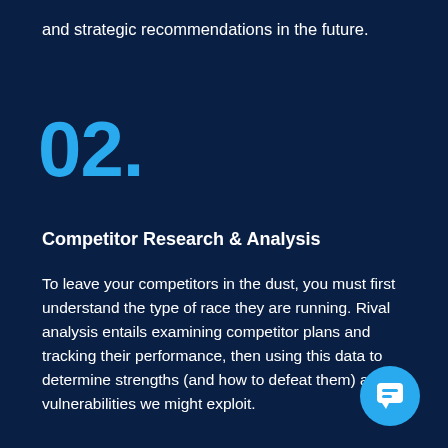and strategic recommendations in the future.
02.
Competitor Research & Analysis
To leave your competitors in the dust, you must first understand the type of race they are running. Rival analysis entails examining competitor plans and tracking their performance, then using this data to determine strengths (and how to defeat them) and vulnerabilities we might exploit.
[Figure (illustration): Light blue circular chat bubble icon in the bottom right corner]